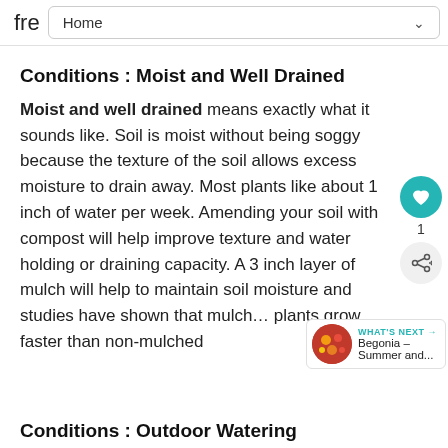fre   Home
Conditions : Moist and Well Drained
Moist and well drained means exactly what it sounds like. Soil is moist without being soggy because the texture of the soil allows excess moisture to drain away. Most plants like about 1 inch of water per week. Amending your soil with compost will help improve texture and water holding or draining capacity. A 3 inch layer of mulch will help to maintain soil moisture and studies have shown that mulc... plants grow faster than non-mulched
Conditions : Outdoor Watering